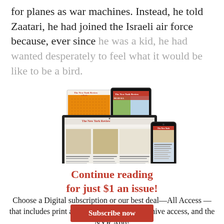for planes as war machines. Instead, he told Zaatari, he had joined the Israeli air force because, ever since he was a kid, he had wanted desperately to feel what it would be like to be a bird.
[Figure (illustration): Illustration of The New York Review of Books shown on multiple devices: a print magazine, a tablet, a laptop, and a smartphone.]
Continue reading for just $1 an issue!
Choose a Digital subscription or our best deal—All Access—that includes print and digital issues, full archive access, and the NYR App!